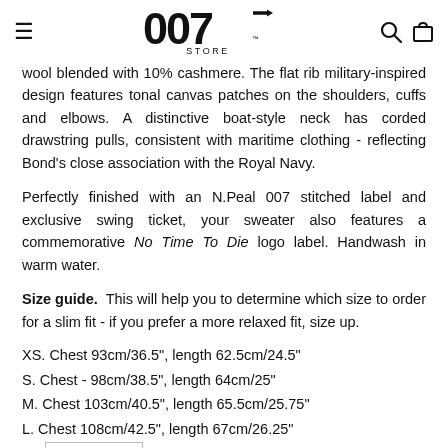007 Store header with hamburger menu, 007 logo, search and cart icons
wool blended with 10% cashmere. The flat rib military-inspired design features tonal canvas patches on the shoulders, cuffs and elbows. A distinctive boat-style neck has corded drawstring pulls, consistent with maritime clothing - reflecting Bond's close association with the Royal Navy.
Perfectly finished with an N.Peal 007 stitched label and exclusive swing ticket, your sweater also features a commemorative No Time To Die logo label. Handwash in warm water.
Size guide. This will help you to determine which size to order for a slim fit - if you prefer a more relaxed fit, size up.
XS. Chest 93cm/36.5", length 62.5cm/24.5"
S. Chest - 98cm/38.5", length 64cm/25"
M. Chest 103cm/40.5", length 65.5cm/25.75"
L. Chest 108cm/42.5", length 67cm/26.25"
XL [English selector] gth 68.5cm/27"